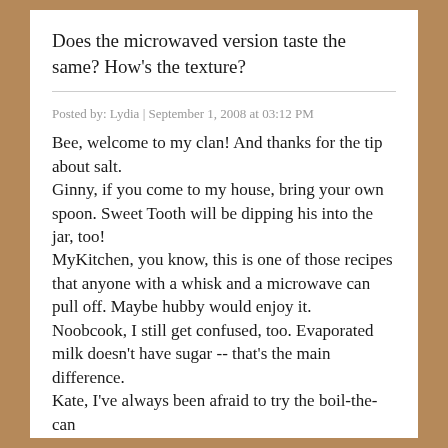Does the microwaved version taste the same? How's the texture?
Posted by: Lydia | September 1, 2008 at 03:12 PM
Bee, welcome to my clan! And thanks for the tip about salt.
Ginny, if you come to my house, bring your own spoon. Sweet Tooth will be dipping his into the jar, too!
MyKitchen, you know, this is one of those recipes that anyone with a whisk and a microwave can pull off. Maybe hubby would enjoy it.
Noobcook, I still get confused, too. Evaporated milk doesn't have sugar -- that's the main difference.
Kate, I've always been afraid to try the boil-the-can